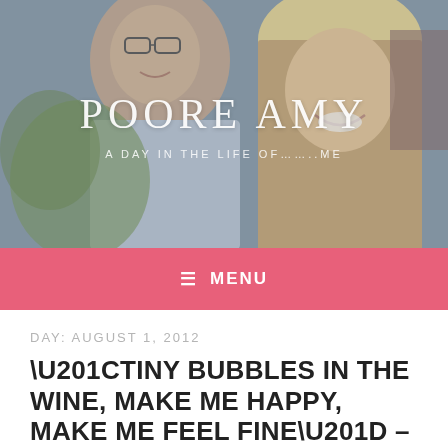[Figure (photo): Header photo of a smiling couple outdoors, man with glasses on left, blonde woman on right]
POORE AMY
A DAY IN THE LIFE OF…….ME
≡  MENU
DAY: AUGUST 1, 2012
“TINY BUBBLES IN THE WINE, MAKE ME HAPPY, MAKE ME FEEL FINE” – DON HO